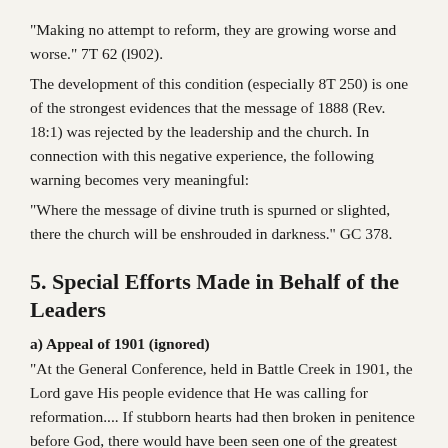"Making no attempt to reform, they are growing worse and worse." 7T 62 (l902).
The development of this condition (especially 8T 250) is one of the strongest evidences that the message of 1888 (Rev. 18:1) was rejected by the leadership and the church. In connection with this negative experience, the following warning becomes very meaningful:
"Where the message of divine truth is spurned or slighted, there the church will be enshrouded in darkness." GC 378.
5. Special Efforts Made in Behalf of the Leaders
a) Appeal of 1901 (ignored)
"At the General Conference, held in Battle Creek in 1901, the Lord gave His people evidence that He was calling for reformation.... If stubborn hearts had then broken in penitence before God, there would have been seen one of the greatest